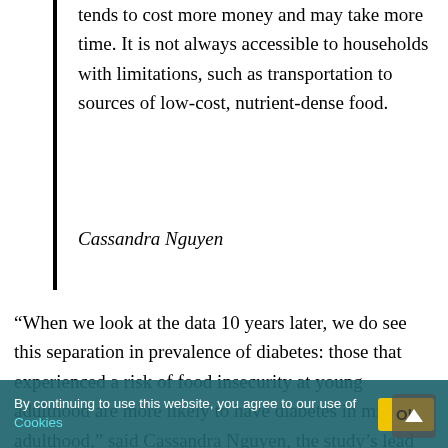tends to cost more money and may take more time. It is not always accessible to households with limitations, such as transportation to sources of low-cost, nutrient-dense food.
Cassandra Nguyen
“When we look at the data 10 years later, we do see this separation in prevalence of diabetes: those that experienced a risk of food insecurity at young adulthood are more likely to have diabetes in middle adulthood,” said Cassandra Nguyen, the study’s lead author and an assistant professor with WSU’s Institute for Research and Education to Advance...